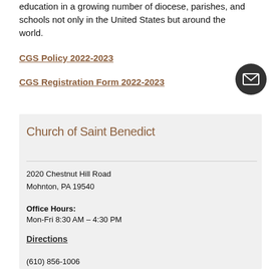education in a growing number of diocese, parishes, and schools not only in the United States but around the world.
CGS Policy 2022-2023
CGS Registration Form 2022-2023
Church of Saint Benedict
2020 Chestnut Hill Road
Mohnton, PA 19540
Office Hours:
Mon-Fri 8:30 AM – 4:30 PM
Directions
(610) 856-1006